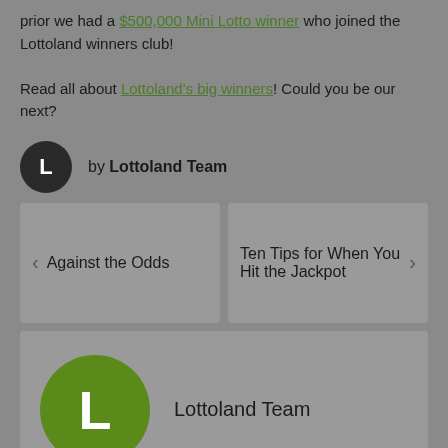prior we had a $500,000 Mini Lotto winner who joined the Lottoland winners club!

Read all about Lottoland's big winners! Could you be our next?
by Lottoland Team
Against the Odds
Ten Tips for When You Hit the Jackpot
Lottoland Team